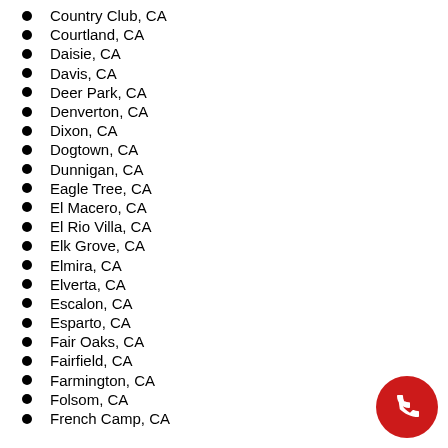Country Club, CA
Courtland, CA
Daisie, CA
Davis, CA
Deer Park, CA
Denverton, CA
Dixon, CA
Dogtown, CA
Dunnigan, CA
Eagle Tree, CA
El Macero, CA
El Rio Villa, CA
Elk Grove, CA
Elmira, CA
Elverta, CA
Escalon, CA
Esparto, CA
Fair Oaks, CA
Fairfield, CA
Farmington, CA
Folsom, CA
French Camp, CA
[Figure (illustration): Red circular phone call button with white telephone handset icon]